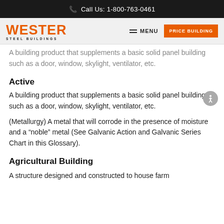Call Us: 1-800-763-0461
[Figure (logo): Western Steel Buildings logo with orange text and navigation bar including MENU and PRICE BUILDING button]
A building product that supplements a basic solid panel building such as a door, window, skylight, ventilator, etc.
Active
A building product that supplements a basic solid panel building such as a door, window, skylight, ventilator, etc.
(Metallurgy) A metal that will corrode in the presence of moisture and a “noble” metal (See Galvanic Action and Galvanic Series Chart in this Glossary).
Agricultural Building
A structure designed and constructed to house farm